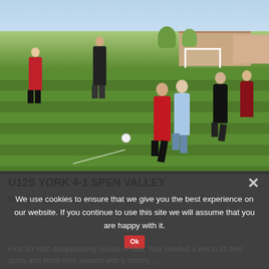[Figure (photo): Youth soccer match on a green grass pitch. Several players in black-and-red kits and light blue kits competing for the ball. Background shows trees, buildings and a goal post. Sunny spring day.]
U12S YORK 4-1 SPEN VALLEY
In the last home league game of the season, the U12s faced Spen Valley...
We use cookies to ensure that we give you the best experience on our website. If you continue to use this site we will assume that you are happy with it.
First 20 With disappointing results of late, York needed a win to lift their spirits and finish their season with a victory....